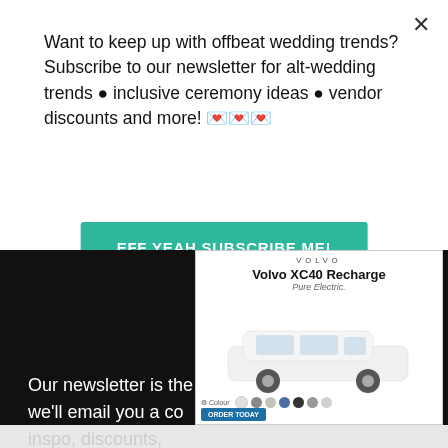Want to keep up with offbeat wedding trends?Subscribe to our newsletter for alt-wedding trends • inclusive ceremony ideas • vendor discounts and more! 💌💌💌
EFF YEAH SUBSCRIBE ME!
[Figure (photo): Offbeat Bride envelope/mailer with teal and dark green logo design on white envelope]
[Figure (screenshot): Volvo XC40 Recharge Pure Electric advertisement showing white SUV with color selection dots and order button]
Our newsletter is the… we’ll email you a co… inspo, discounts, and more!